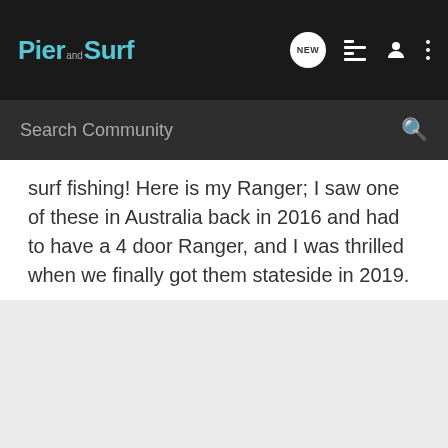Pier and Surf
surf fishing! Here is my Ranger; I saw one of these in Australia back in 2016 and had to have a 4 door Ranger, and I was thrilled when we finally got them stateside in 2019.
[Figure (photo): Light gray placeholder area representing an image of a Ranger vehicle]